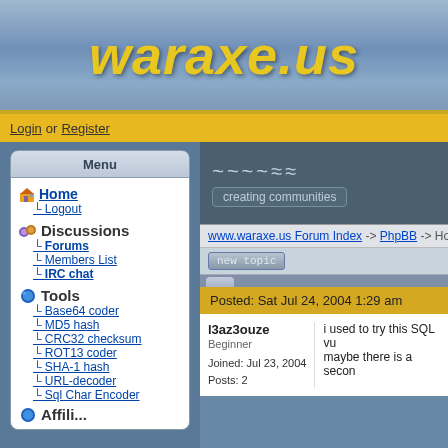waraxe.us
Login or Register
Menu
Home
Logout
Discussions
Forums
Members List
IRC chat
Tools
Base64 coder
MD5 hash
CRC32 checksum
ROT13 coder
SHA-1 hash
URL-decoder
Sql Char Encoder
[Figure (logo): Community logo with stylized text and 'creating communities' badge]
www.waraxe.us Forum Index -> PhpBB -> How
new topic
Posted: Sat Jul 24, 2004 1:29 am
l3az3ouze
Beginner
Joined: Jul 23, 2004
Posts: 2
i used to try this SQL vu maybe there is a secon